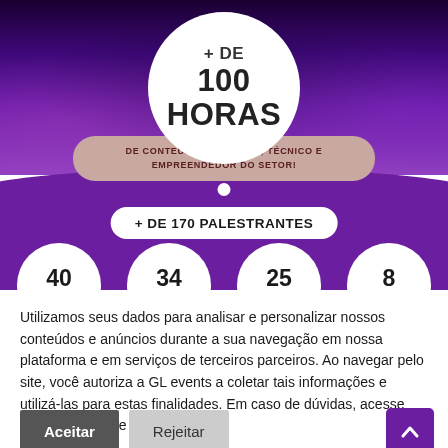[Figure (infographic): Conference event promotional banner with crowd photo background. Shows white circle badge with '+ DE 100 HORAS', a mauve pill with 'DE CONTEÚDO CIENTÍFICO, TÉCNICO E EMPREENDEDOR DO SETOR!', purple wave section with '+ DE 170 PALESTRANTES' pill, and four white circles showing 40 HORAS, 34 HORAS, 25 HORAS, 8 HORAS]
Utilizamos seus dados para analisar e personalizar nossos conteúdos e anúncios durante a sua navegação em nossa plataforma e em serviços de terceiros parceiros. Ao navegar pelo site, você autoriza a GL events a coletar tais informações e utilizá-las para estas finalidades. Em caso de dúvidas, acesse nossa Política de Privacidade.
Aceitar
Rejeitar